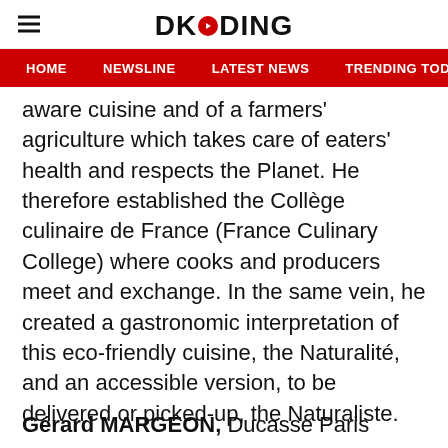DKODING
HOME   NEWSLINE   LATEST NEWS   TRENDING TODAY   ENT
aware cuisine and of a farmers' agriculture which takes care of eaters' health and respects the Planet. He therefore established the Collège culinaire de France (France Culinary College) where cooks and producers meet and exchange. In the same vein, he created a gastronomic interpretation of this eco-friendly cuisine, the Naturalité, and an accessible version, to be delivered or picked-up, the Naturaliste.
Gérard MARGEON, Ducasse Paris